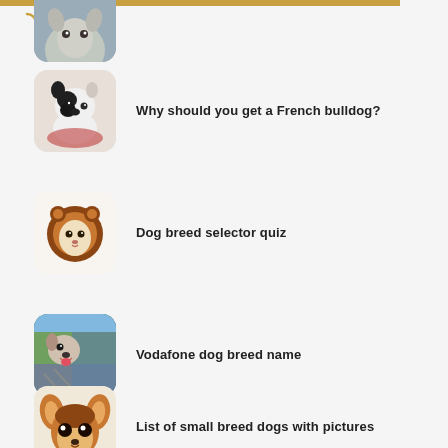[Figure (screenshot): Loading spinner arc icon at top left]
[Figure (photo): Partial photo of a cat/dog at top of list]
Why should you get a French bulldog?
Dog breed selector quiz
Vodafone dog breed name
List of small breed dogs with pictures